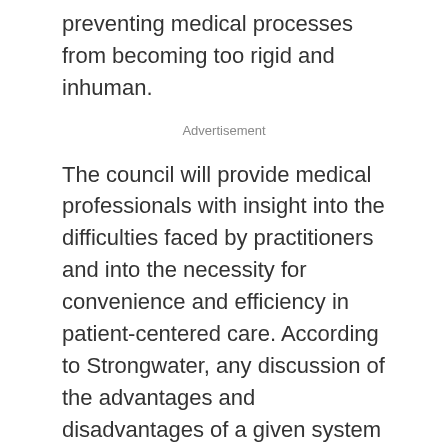preventing medical processes from becoming too rigid and inhuman.
Advertisement
The council will provide medical professionals with insight into the difficulties faced by practitioners and into the necessity for convenience and efficiency in patient-centered care. According to Strongwater, any discussion of the advantages and disadvantages of a given system of care, which include tools used, methodology implemented and convenience of location, helps elucidate areas of potential improvement.
In its consistent commitment to patient safety awareness and concern, the PSQC is yet another